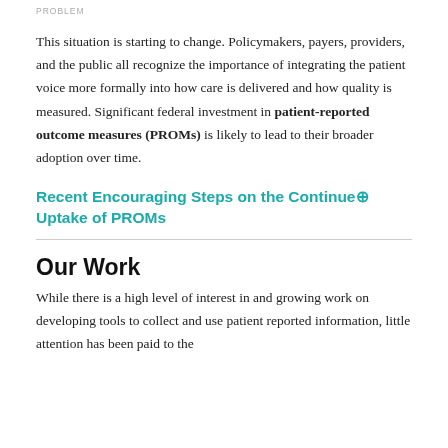PROBLEM
This situation is starting to change. Policymakers, payers, providers, and the public all recognize the importance of integrating the patient voice more formally into how care is delivered and how quality is measured. Significant federal investment in patient-reported outcome measures (PROMs) is likely to lead to their broader adoption over time.
Recent Encouraging Steps on the Continue⊕ Uptake of PROMs
Our Work
While there is a high level of interest in and growing work on developing tools to collect and use patient reported information, little attention has been paid to the